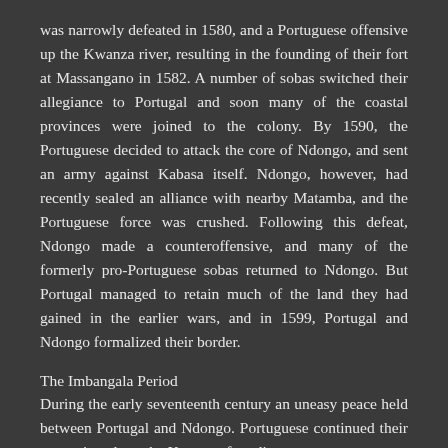was narrowly defeated in 1580, and a Portuguese offensive up the Kwanza river, resulting in the founding of their fort at Massangano in 1582. A number of sobas switched their allegiance to Portugal and soon many of the coastal provinces were joined to the colony. By 1590, the Portuguese decided to attack the core of Ndongo, and sent an army against Kabasa itself. Ndongo, however, had recently sealed an alliance with nearby Matamba, and the Portuguese force was crushed. Following this defeat, Ndongo made a counteroffensive, and many of the formerly pro-Portuguese sobas returned to Ndongo. But Portugal managed to retain much of the land they had gained in the earlier wars, and in 1599, Portugal and Ndongo formalized their border.
The Imbangala Period
During the early seventeenth century an uneasy peace held between Portugal and Ndongo. Portuguese continued their expansion along the Kwanza, founding